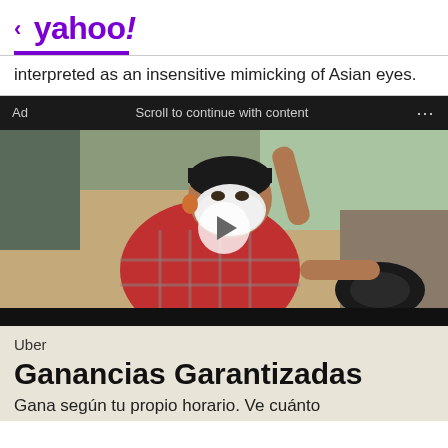< yahoo!
interpreted as an insensitive mimicking of Asian eyes.
Ad   Scroll to continue with content   ...
[Figure (photo): Video advertisement showing a person wearing a face mask sitting in a car driver seat, with a play button overlay]
Uber
Ganancias Garantizadas
Gana según tu propio horario. Ve cuánto